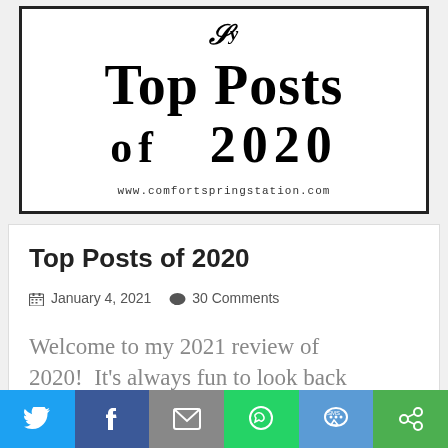[Figure (illustration): Blog banner image with decorative text reading 'Top Posts of 2020' in large serif font, with URL www.comfortspringstation.com, black border on white background]
Top Posts of 2020
January 4, 2021   30 Comments
Welcome to my 2021 review of 2020!  It's always fun to look back